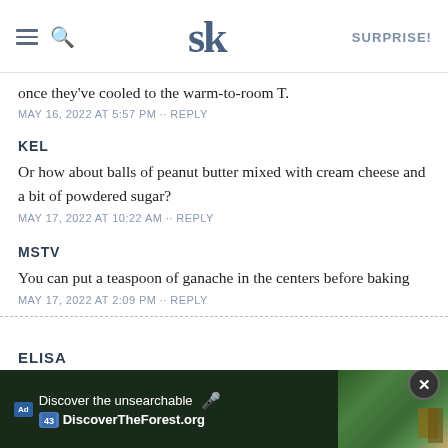SK | SURPRISE!
once they've cooled to the warm-to-room T.
MAY 16, 2022 AT 5:57 PM · · REPLY
KEL
Or how about balls of peanut butter mixed with cream cheese and a bit of powdered sugar?
MAY 17, 2022 AT 10:22 AM · · REPLY
MSTV
You can put a teaspoon of ganache in the centers before baking
MAY 17, 2022 AT 2:09 PM · · REPLY
ELISA
[Figure (screenshot): Advertisement banner: Discover the unsearchable - DiscoverTheForest.org with forest photo background]